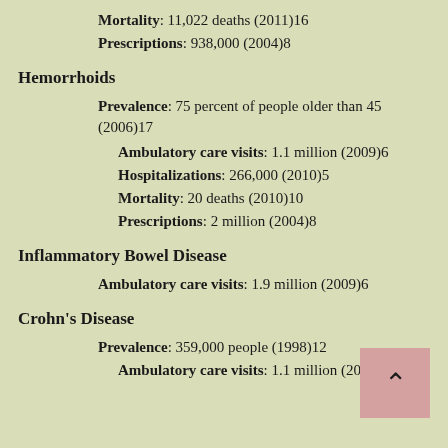Mortality: 11,022 deaths (2011)16
Prescriptions: 938,000 (2004)8
Hemorrhoids
Prevalence: 75 percent of people older than 45 (2006)17
Ambulatory care visits: 1.1 million (2009)6
Hospitalizations: 266,000 (2010)5
Mortality: 20 deaths (2010)10
Prescriptions: 2 million (2004)8
Inflammatory Bowel Disease
Ambulatory care visits: 1.9 million (2009)6
Crohn's Disease
Prevalence: 359,000 people (1998)12
Ambulatory care visits: 1.1 million (2004)8